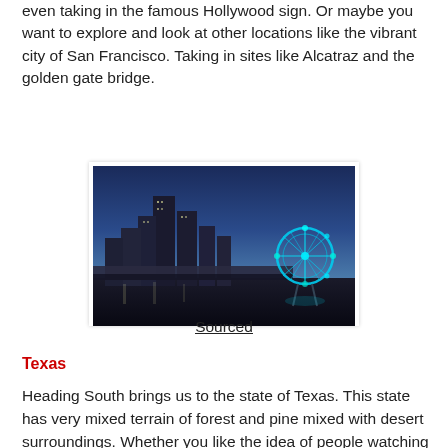even taking in the famous Hollywood sign. Or maybe you want to explore and look at other locations like the vibrant city of San Francisco. Taking in sites like Alcatraz and the golden gate bridge.
[Figure (photo): Night cityscape of Houston with illuminated skyscrapers on the left and a lit ferris wheel on the right, taken at dusk with orange and blue sky tones.]
Sourced
Texas
Heading South brings us to the state of Texas. This state has very mixed terrain of forest and pine mixed with desert surroundings. Whether you like the idea of people watching in San Antonio where you can sit and relax in a riverside cafe in one of the most multicultural cities, or want to take advantage of some of the best